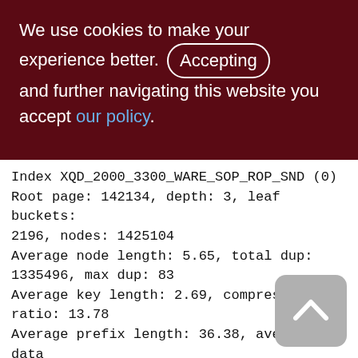We use cookies to make your experience better. By Accepting and further navigating this website you accept our policy.
Index XQD_2000_3300_WARE_SOP_ROP_SND (0)
Root page: 142134, depth: 3, leaf buckets: 2196, nodes: 1425104
Average node length: 5.65, total dup: 1335496, max dup: 83
Average key length: 2.69, compression ratio: 13.78
Average prefix length: 36.38, average data length: 0.62
Clustering factor: 176997, ratio: 0.12
Fill distribution:
0 - 19% = 13
20 - 29% = 031